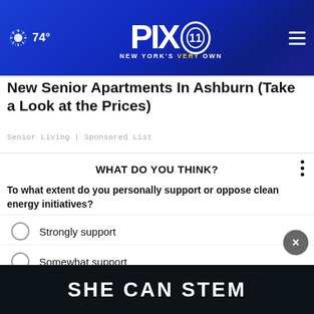PIX 11 - NEW YORK'S VERY OWN - 74°
New Senior Apartments In Ashburn (Take a Look at the Prices)
Senior Living | Sponsored List
WHAT DO YOU THINK?
To what extent do you personally support or oppose clean energy initiatives?
Strongly support
Somewhat support
Somewhat oppose
SHE CAN STEM